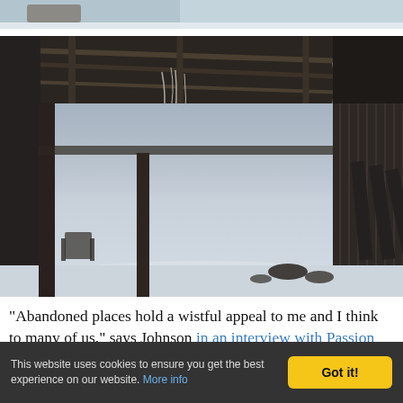[Figure (photo): Top edge of a partially visible photo, showing snow and debris at the top of the frame.]
[Figure (photo): Interior of an abandoned barn or industrial shed in winter. The roof has exposed wooden beams with hanging debris and cobwebs. The floor is covered in deep snow. Old farm equipment and metal panels are visible in the background. The scene has a cold, desolate atmosphere.]
“Abandoned places hold a wistful appeal to me and I think to many of us,” says Johnson in an interview with Passion
This website uses cookies to ensure you get the best experience on our website. More info